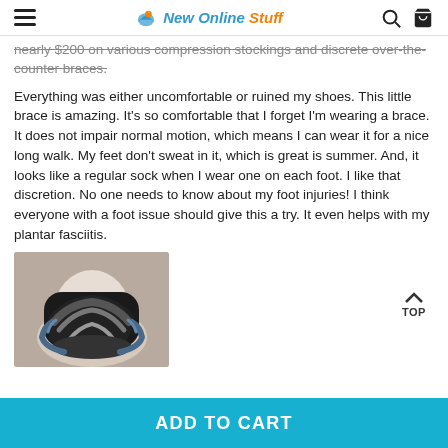New Online Stuff
nearly $200 on various compression stockings and discrete over-the-counter braces. Everything was either uncomfortable or ruined my shoes. This little brace is amazing. It's so comfortable that I forget I'm wearing a brace. It does not impair normal motion, which means I can wear it for a nice long walk. My feet don't sweat in it, which is great is summer. And, it looks like a regular sock when I wear one on each foot. I like that discretion. No one needs to know about my foot injuries! I think everyone with a foot issue should give this a try. It even helps with my plantar fasciitis.
[Figure (photo): Photo of a black and grey ankle brace worn on a foot/leg, showing the brace wrapping around the ankle area]
TOP
ADD TO CART